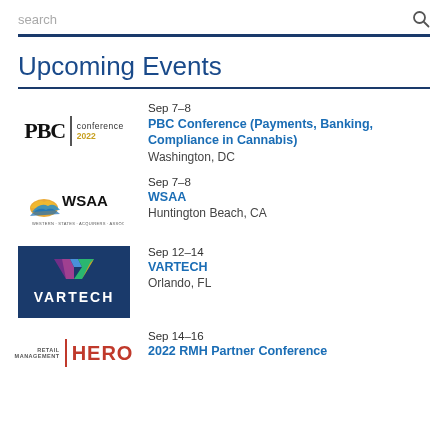search
Upcoming Events
Sep 7–8 | PBC Conference (Payments, Banking, Compliance in Cannabis) | Washington, DC
Sep 7–8 | WSAA | Huntington Beach, CA
Sep 12–14 | VARTECH | Orlando, FL
Sep 14–16 | 2022 RMH Partner Conference